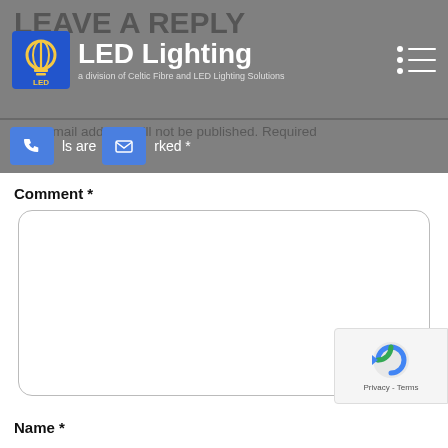LEAVE A REPLY
[Figure (logo): LED Lighting logo — circular bulb icon with 'LED Lighting' text and subtitle 'a division of Celtic Fibre and LED Lighting Solutions']
Your email address will not be published. Required fields are marked *
Comment *
Name *